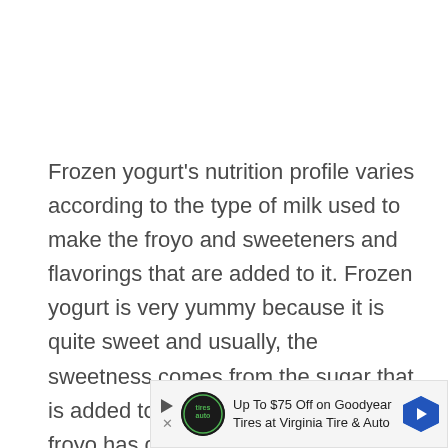Frozen yogurt's nutrition profile varies according to the type of milk used to make the froyo and sweeteners and flavorings that are added to it. Frozen yogurt is very yummy because it is quite sweet and usually, the sweetness comes from the sugar that is added to it. Even the fruit-flavored froyo has quite a lot of sugar added to it.
[Figure (other): Advertisement banner: Up To $75 Off on Goodyear Tires at Virginia Tire & Auto, with Tires auto logo and blue directional arrow icon]